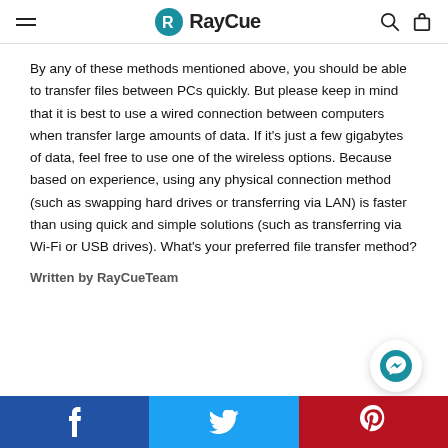RayCue
By any of these methods mentioned above, you should be able to transfer files between PCs quickly. But please keep in mind that it is best to use a wired connection between computers when transfer large amounts of data. If it's just a few gigabytes of data, feel free to use one of the wireless options. Because based on experience, using any physical connection method (such as swapping hard drives or transferring via LAN) is faster than using quick and simple solutions (such as transferring via Wi-Fi or USB drives). What's your preferred file transfer method?
Written by RayCueTeam
[Figure (other): Facebook, Twitter, and Pinterest social share buttons bar at the bottom of the page]